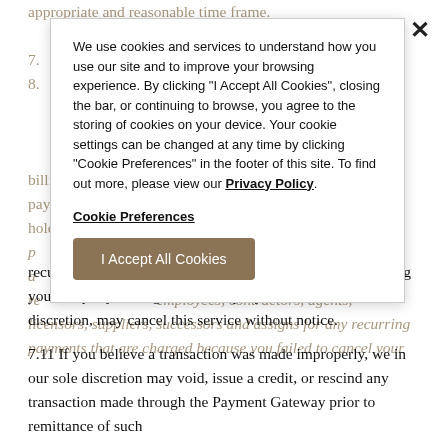appropriate and reasonable time frame. 7. ... billing account during the period designated for recurring payments to take place. You agree to defend, indemnify and hold ... Property Management Company, their agents ... service providers, and its and their respective ... employees, contractors, agents, licensors, suppliers, successors and assigns for any recurring payments that are charged because you failed to cancel your recurring payment. You can cancel your service by contacting your Property Management Company. We, in our sole discretion, may cancel this service without notice.
[Figure (screenshot): Cookie consent overlay popup with close button (×), cookie notice text, Privacy Policy link, Cookie Preferences link, and I Accept All Cookies button]
7.11 If you believe a transaction was made improperly, we in our sole discretion may void, issue a credit, or rescind any transaction made through the Payment Gateway prior to remittance of such